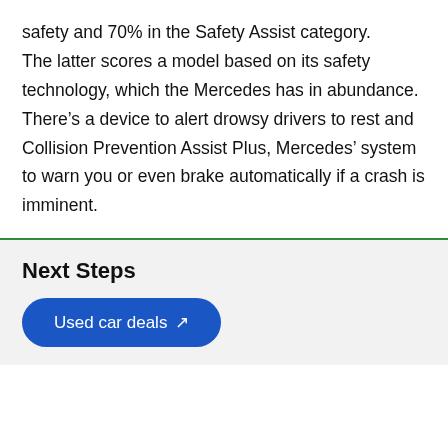safety and 70% in the Safety Assist category.

The latter scores a model based on its safety technology, which the Mercedes has in abundance. There’s a device to alert drowsy drivers to rest and Collision Prevention Assist Plus, Mercedes’ system to warn you or even brake automatically if a crash is imminent.
Next Steps
Used car deals